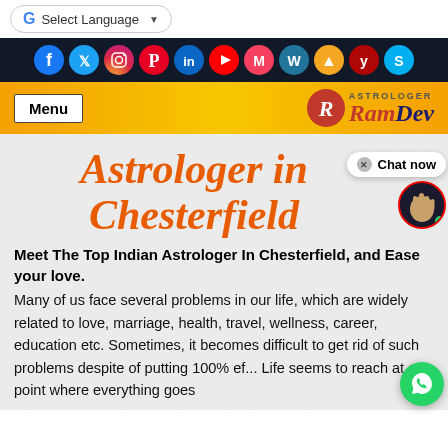[Figure (screenshot): Website header with Google Translate button, social media icons bar (Facebook, Twitter, Instagram, Pinterest, LinkedIn, YouTube, Meetup, WordPress, unknown, Yelp, Skype), navigation bar with Menu button and Astrologer RamDev logo]
Astrologer in Chesterfield
[Figure (other): Chat now bubble with close X button and palm reading hand circular avatar]
Meet The Top Indian Astrologer In Chesterfield, and Ease your love.
Many of us face several problems in our life, which are widely related to love, marriage, health, travel, wellness, career, education etc. Sometimes, it becomes difficult to get rid of such problems despite of putting 100% ef... Life seems to reach at a point where everything goes
[Figure (other): WhatsApp floating chat button (green circle with phone icon) in bottom right corner]